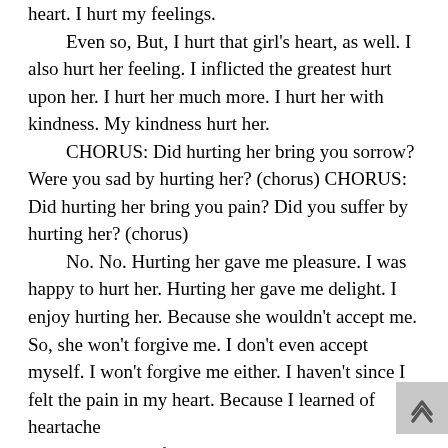heart. I hurt my feelings.

Even so, But, I hurt that girl's heart, as well. I also hurt her feeling. I inflicted the greatest hurt upon her. I hurt her much more. I hurt her with kindness. My kindness hurt her.

CHORUS: Did hurting her bring you sorrow? Were you sad by hurting her? (chorus) CHORUS: Did hurting her bring you pain? Did you suffer by hurting her? (chorus)

No. No. Hurting her gave me pleasure. I was happy to hurt her. Hurting her gave me delight. I enjoy hurting her. Because she wouldn't accept me. So, she won't forgive me. I don't even accept myself. I won't forgive me either. I haven't since I felt the pain in my heart. Because I learned of heartache

CHORUS: If that's so, why do you live? The why are you living? (chorus)

If only I could die. You should be glad...